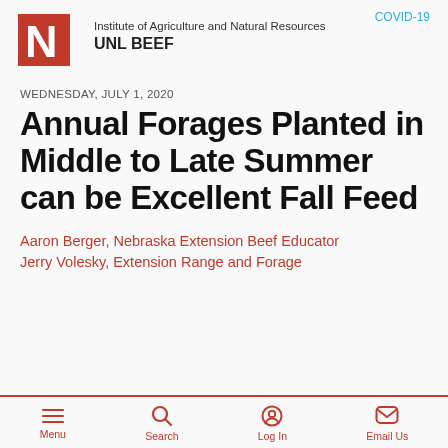Institute of Agriculture and Natural Resources UNL BEEF
COVID-19
WEDNESDAY, JULY 1, 2020
Annual Forages Planted in Middle to Late Summer can be Excellent Fall Feed
Aaron Berger, Nebraska Extension Beef Educator
Jerry Volesky, Extension Range and Forage
Menu  Search  Log In  Email Us